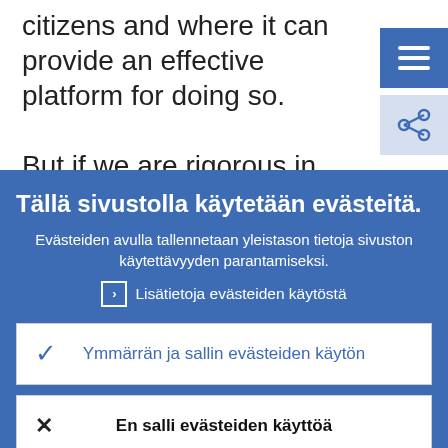citizens and where it can provide an effective platform for doing so.
But if we are rigorous in applying the subsidiarity principle, then we also need to be rigorous in giving each level of
Tällä sivustolla käytetään evästeitä.
Evästeiden avulla tallennetaan yleistason tietoja sivuston käytettävyyden parantamiseksi.
› Lisätietoja evästeiden käytöstä
✓  Ymmärrän ja sallin evästeiden käytön
✕  En salli evästeiden käyttöä